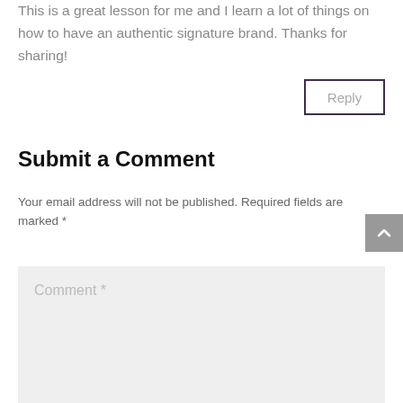This is a great lesson for me and I learn a lot of things on how to have an authentic signature brand. Thanks for sharing!
Reply
Submit a Comment
Your email address will not be published. Required fields are marked *
Comment *